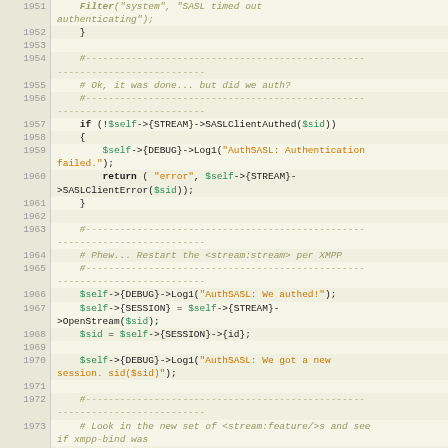[Figure (screenshot): Source code listing in a monospaced font showing Perl code lines 1951-1973, with line numbers in a left column and syntax-highlighted code on the right. Keywords are bold black, variables are green, strings are orange, and comments are olive/italic.]